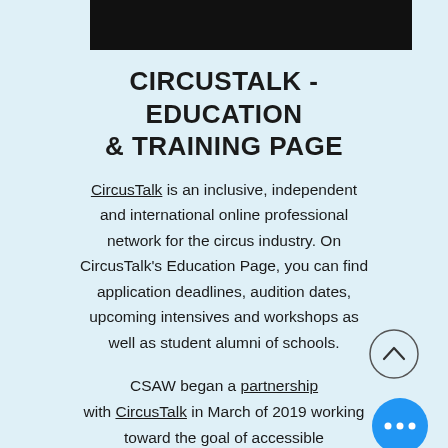[Figure (other): Black rectangle bar at the top of the page (partially visible header image)]
CIRCUSTALK - EDUCATION & TRAINING PAGE
CircusTalk is an inclusive, independent and international online professional network for the circus industry. On CircusTalk's Education Page, you can find application deadlines, audition dates, upcoming intensives and workshops as well as student alumni of schools.
CSAW began a partnership with CircusTalk in March of 2019 working toward the goal of accessible information.